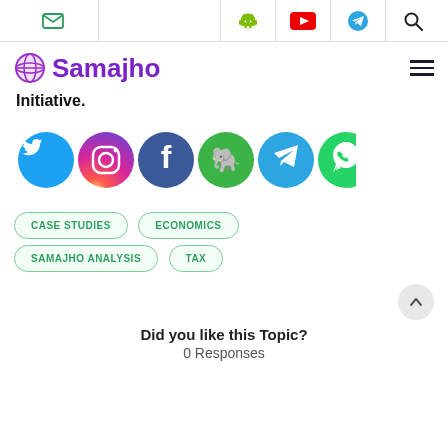Samajho — website header with mail, Android, YouTube, Telegram, Search icons and logo with hamburger menu
Initiative.
[Figure (illustration): Row of 6 social media circular icon buttons: Twitter (blue), Instagram (gradient), Facebook (dark blue), Evernote (green), Telegram (blue), WhatsApp (green)]
CASE STUDIES
ECONOMICS
SAMAJHO ANALYSIS
TAX
Did you like this Topic?
0 Responses